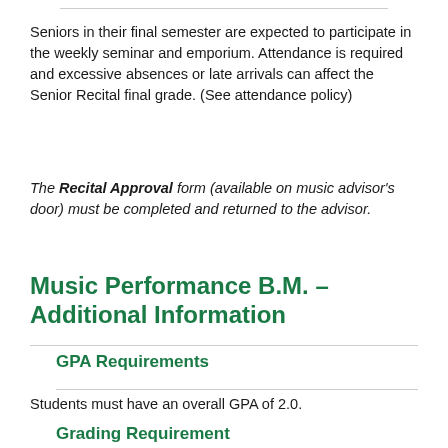Seniors in their final semester are expected to participate in the weekly seminar and emporium. Attendance is required and excessive absences or late arrivals can affect the Senior Recital final grade. (See attendance policy)
The Recital Approval form (available on music advisor's door) must be completed and returned to the advisor.
Music Performance B.M. – Additional Information
GPA Requirements
Students must have an overall GPA of 2.0.
Grading Requirement